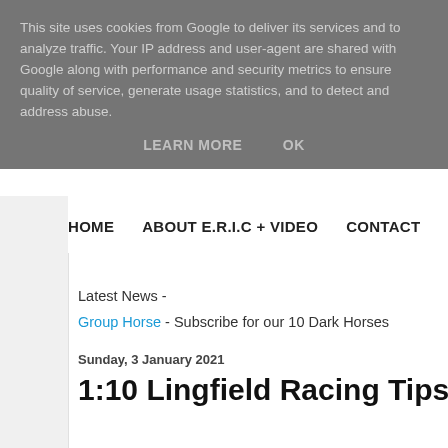This site uses cookies from Google to deliver its services and to analyze traffic. Your IP address and user-agent are shared with Google along with performance and security metrics to ensure quality of service, generate usage statistics, and to detect and address abuse.
LEARN MORE    OK
HOME    ABOUT E.R.I.C + VIDEO    CONTACT
Latest News -
Group Horse - Subscribe for our 10 Dark Horses
Sunday, 3 January 2021
1:10 Lingfield Racing Tips (4th Jan